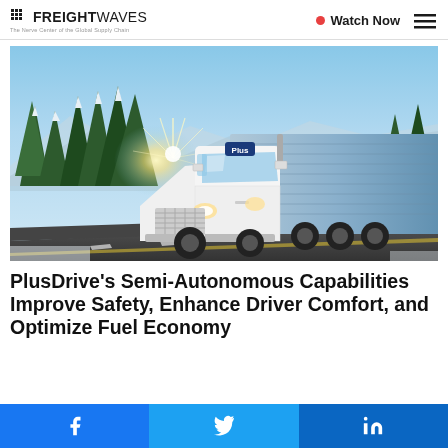FREIGHTWAVES — The Nerve Center of the Global Supply Chain | Watch Now
[Figure (photo): A white semi-autonomous truck with 'Plus' branding driving on a highway with pine trees and mountains in the background. Sun flare visible through the trees. Blue metallic trailer on right side.]
PlusDrive's Semi-Autonomous Capabilities Improve Safety, Enhance Driver Comfort, and Optimize Fuel Economy